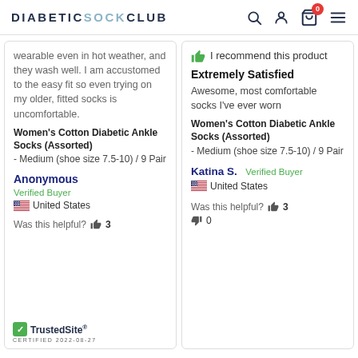DIABETIC SOCK CLUB
wearable even in hot weather, and they wash well. I am accustomed to the easy fit so even trying on my older, fitted socks is uncomfortable.
Women's Cotton Diabetic Ankle Socks (Assorted) - Medium (shoe size 7.5-10) / 9 Pair
Anonymous
Verified Buyer
United States
Was this helpful? 3
[Figure (logo): TrustedSite Certified logo with CERTIFIED 2022-08-27]
👍 I recommend this product
Extremely Satisfied
Awesome, most comfortable socks I've ever worn
Women's Cotton Diabetic Ankle Socks (Assorted) - Medium (shoe size 7.5-10) / 9 Pair
Katina S. Verified Buyer
United States
Was this helpful? 👍 3
👎 0